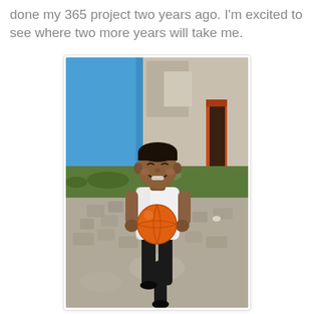done my 365 project two years ago. I'm excited to see where two more years will take me.
[Figure (photo): A smiling young boy wearing a white t-shirt and black pants, holding an orange ball, walking on a cobblestone path outdoors. Behind him is a blue wall, green grass, and a building with an orange door frame.]